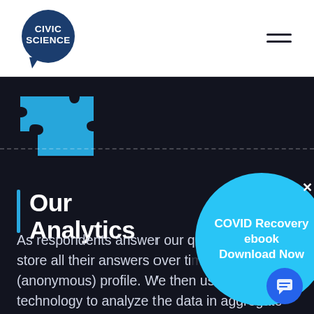[Figure (logo): CivicScience logo: dark navy circle with 'CIVIC SCIENCE' text in white, stylized as a speech bubble]
[Figure (illustration): Hamburger menu icon (three horizontal lines) in top right corner]
[Figure (illustration): Cyan/blue puzzle piece icon on dark background with dashed horizontal line]
Our Analytics
As respondents answer our questions, we store all their answers over time in an (anonymous) profile. We then use advanced technology to analyze the data in aggregate and in near real time, cross-tabulating questions to find meaningful statistical
[Figure (infographic): Circular cyan popup overlay with text 'COVID Recovery ebook Download Now' and an X close button]
[Figure (illustration): Blue circular chat button in bottom right corner with chat icon]